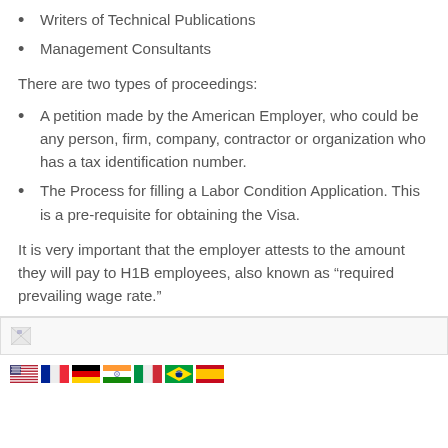Writers of Technical Publications
Management Consultants
There are two types of proceedings:
A petition made by the American Employer, who could be any person, firm, company, contractor or organization who has a tax identification number.
The Process for filling a Labor Condition Application. This is a pre-requisite for obtaining the Visa.
It is very important that the employer attests to the amount they will pay to H1B employees, also known as “required prevailing wage rate.”
[Figure (illustration): Small flag/image icon placeholder with a broken image indicator]
[Figure (illustration): Row of country flag icons: USA, France, Germany, India, Italy, Brazil, Spain]